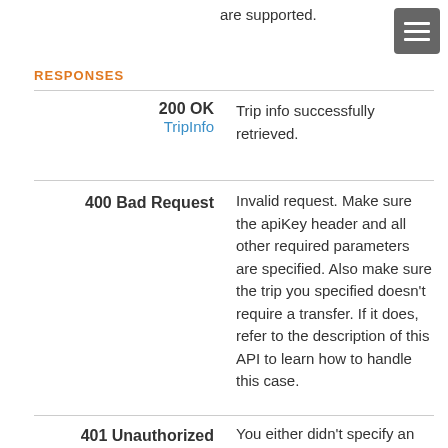are supported.
RESPONSES
| Code | Description |
| --- | --- |
| 200 OK
TripInfo | Trip info successfully retrieved. |
| 400 Bad Request | Invalid request. Make sure the apiKey header and all other required parameters are specified. Also make sure the trip you specified doesn't require a transfer. If it does, refer to the description of this API to learn how to handle this case. |
| 401 Unauthorized | You either didn't specify an |